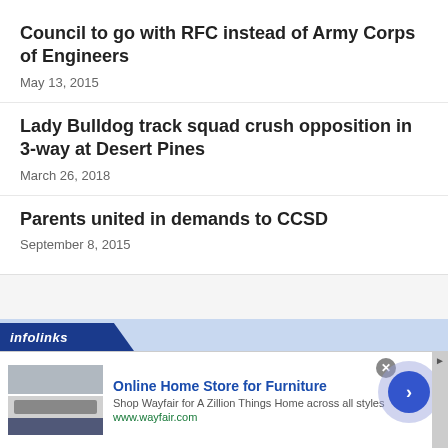Council to go with RFC instead of Army Corps of Engineers
May 13, 2015
Lady Bulldog track squad crush opposition in 3-way at Desert Pines
March 26, 2018
Parents united in demands to CCSD
September 8, 2015
[Figure (screenshot): infolinks advertisement banner: Online Home Store for Furniture - Wayfair ad with image of kitchen appliances, blue arrow navigation button, and close button]